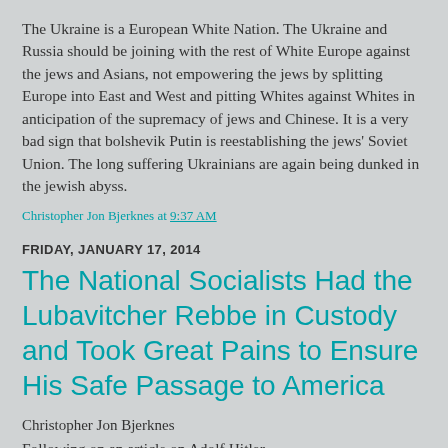The Ukraine is a European White Nation. The Ukraine and Russia should be joining with the rest of White Europe against the jews and Asians, not empowering the jews by splitting Europe into East and West and pitting Whites against Whites in anticipation of the supremacy of jews and Chinese. It is a very bad sign that bolshevik Putin is reestablishing the jews' Soviet Union. The long suffering Ukrainians are again being dunked in the jewish abyss.
Christopher Jon Bjerknes at 9:37 AM
FRIDAY, JANUARY 17, 2014
The National Socialists Had the Lubavitcher Rebbe in Custody and Took Great Pains to Ensure His Safe Passage to America
Christopher Jon Bjerknes
Following on an article on Adolf Hitler...